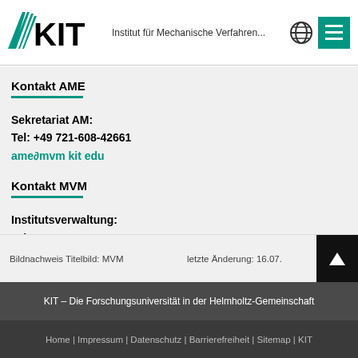KIT — Institut für Mechanische Verfahren...
Kontakt AME
Sekretariat AM:
Tel: +49 721-608-42661
ame∂mvm kit edu
Kontakt MVM
Institutsverwaltung:
Tel: +49 721-608-42407
verwaltung∂mvm kit edu
Bildnachweis Titelbild: MVM   letzte Änderung: 16.07.
KIT – Die Forschungsuniversität in der Helmholtz-Gemeinschaft
Home | Impressum | Datenschutz | Barrierefreiheit | Sitemap | KIT